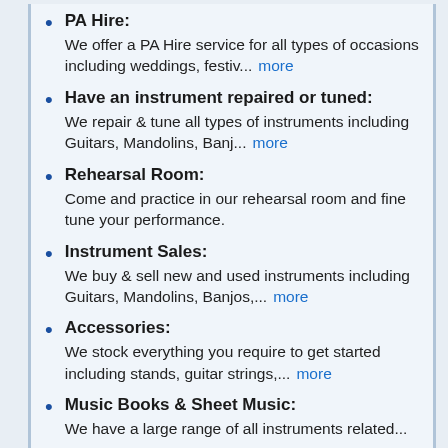PA Hire: We offer a PA Hire service for all types of occasions including weddings, festiv... more
Have an instrument repaired or tuned: We repair & tune all types of instruments including Guitars, Mandolins, Banj... more
Rehearsal Room: Come and practice in our rehearsal room and fine tune your performance.
Instrument Sales: We buy & sell new and used instruments including Guitars, Mandolins, Banjos,... more
Accessories: We stock everything you require to get started including stands, guitar strings,... more
Music Books & Sheet Music: We have a large range of all instruments related...